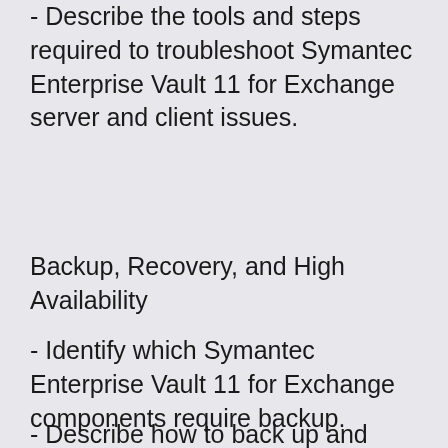- Describe the tools and steps required to troubleshoot Symantec Enterprise Vault 11 for Exchange server and client issues.
Backup, Recovery, and High Availability
- Identify which Symantec Enterprise Vault 11 for Exchange components require backup.
- Describe how to back up and